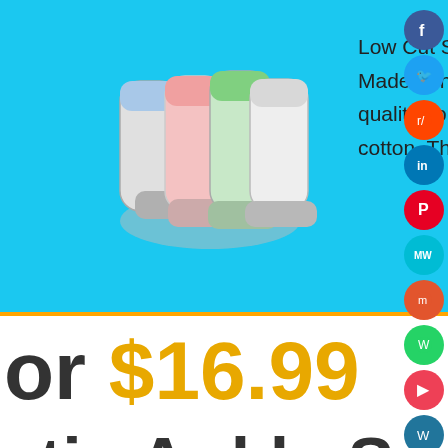[Figure (screenshot): E-commerce ad banner with cyan background showing colorful low-cut ankle socks and text: 'Low Cut Socks – Made of high quality combed cotton. These' with red bold CTA text 'best price click']
or $16.99
etic Ankle Socks
We use cookies to personalise content and ads, to provide social media features and to analyse our traffic. We also share information about your use of our site with our social media, advertising and analytics partners. View more
Cookies settings  ✓ Accept